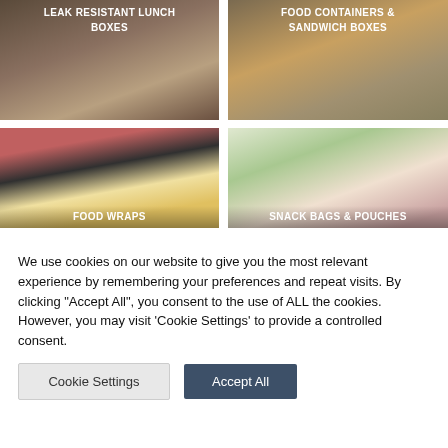[Figure (photo): Stainless steel leak resistant lunch box with orange rubber band on wooden surface]
[Figure (photo): Stainless steel food container and sandwich box open showing vegetables and snacks]
[Figure (photo): Person wrapping food in white food wrap outdoors, with vegetables]
[Figure (photo): Beeswax snack bags and pouches on wooden board with vegetables]
We use cookies on our website to give you the most relevant experience by remembering your preferences and repeat visits. By clicking "Accept All", you consent to the use of ALL the cookies. However, you may visit 'Cookie Settings' to provide a controlled consent.